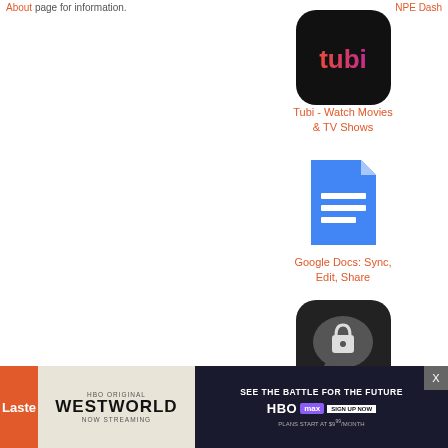About page for information.
NPE Dash
[Figure (logo): Tubi app icon - dark rounded square with red-to-purple gradient 'tubi' text]
Tubi - Watch Movies & TV Shows
[Figure (logo): Google Docs app icon - blue document with white lines]
Google Docs: Sync, Edit, Share
[Figure (logo): Threema app icon - dark rounded square with lock/chat bubble and three green dots]
Threema. The Secure Messenger
[Figure (screenshot): Advertisement banner: HBO Westworld Now Streaming ad on left, HBO Max 'See the Battle for the Future' sign up ad on right, with orange 'Laste' partial text on far left]
Laste
HBO ORIGINAL WESTWORLD NOW STREAMING
SEE THE BATTLE FOR THE FUTURE HBO MAX SIGN UP NOW PLANS START AT $9.99/MONTH